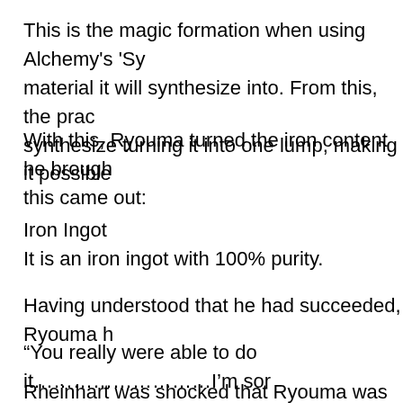This is the magic formation when using Alchemy's 'Sy... material it will synthesize into. From this, the prac... synthesize turning it into one lump, making it possible...
With this, Ryouma turned the iron content he brough... this came out:
Iron Ingot
It is an iron ingot with 100% purity.
Having understood that he had succeeded, Ryouma h...
“You really were able to do it…………………………I’m sor...
Rheinhart was shocked that Ryouma was actually ab...